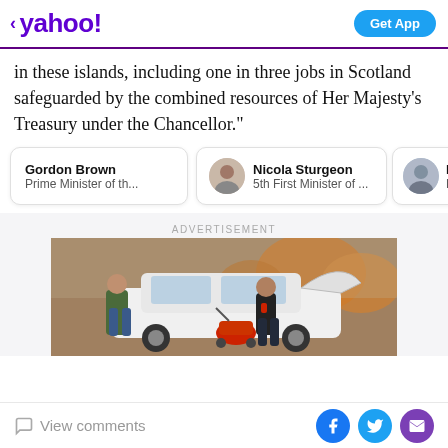< yahoo!  Get App
in these islands, including one in three jobs in Scotland safeguarded by the combined resources of Her Majesty's Treasury under the Chancellor."
Gordon Brown | Prime Minister of th...
Nicola Sturgeon | 5th First Minister of ...
Bo... | Prin...
ADVERTISEMENT
[Figure (photo): Advertisement photo showing two people loading a red baby stroller into the trunk of a white car, with autumn trees in the background.]
View comments